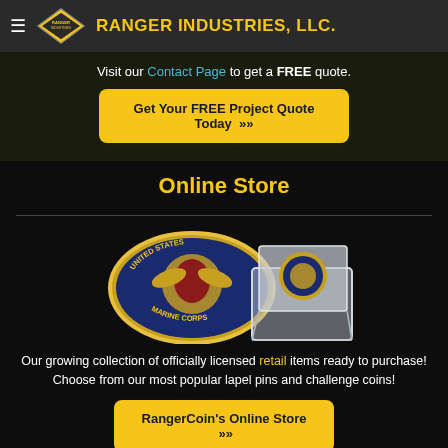RANGER INDUSTRIES, LLC.
Visit our Contact Page to get a FREE quote.
Get Your FREE Project Quote Today »
Online Store
[Figure (illustration): A United States Marine Corps challenge coin (gold with blue enamel) and a coin displayed in a clear acrylic box]
Our growing collection of officially licensed retail items ready to purchase! Choose from our most popular lapel pins and challenge coins!
RangerCoin's Online Store »